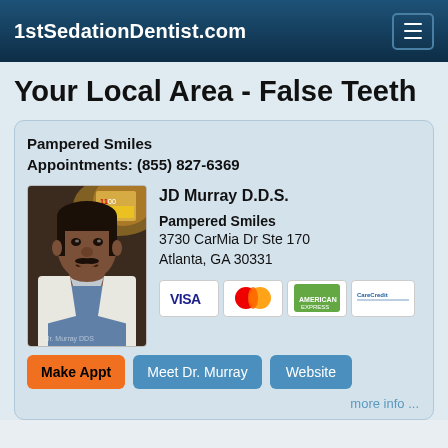1stSedationDentist.com
Your Local Area - False Teeth
Pampered Smiles
Appointments: (855) 827-6369
[Figure (photo): Headshot of JD Murray D.D.S. wearing a white coat]
JD Murray D.D.S.
Pampered Smiles
3730 CarMia Dr Ste 170
Atlanta, GA 30331
[Figure (infographic): Payment method icons: VISA, MasterCard, American Express, CareCredit]
Make Appt   Meet Dr. Murray   Website
more info ...